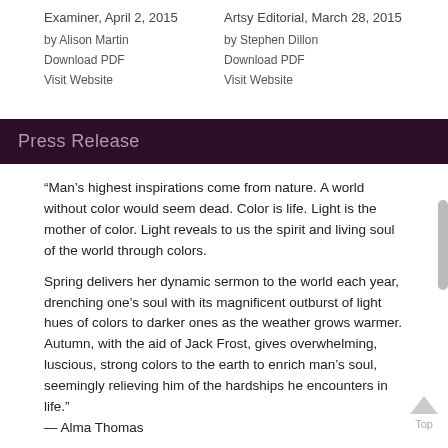Examiner, April 2, 2015
by Alison Martin
Download PDF
Visit Website
Artsy Editorial, March 28, 2015
by Stephen Dillon
Download PDF
Visit Website
Press Release
“Man’s highest inspirations come from nature. A world without color would seem dead. Color is life. Light is the mother of color. Light reveals to us the spirit and living soul of the world through colors.
Spring delivers her dynamic sermon to the world each year, drenching one’s soul with its magnificent outburst of light hues of colors to darker ones as the weather grows warmer. Autumn, with the aid of Jack Frost, gives overwhelming, luscious, strong colors to the earth to enrich man’s soul, seemingly relieving him of the hardships he encounters in life.”
— Alma Thomas